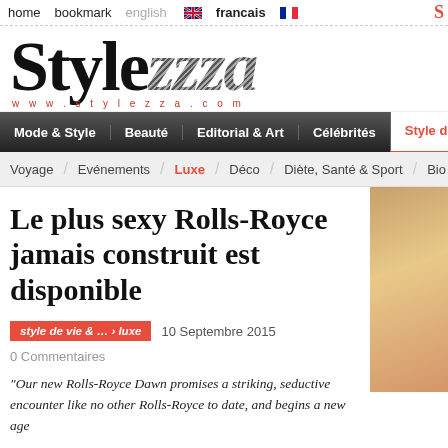home  bookmark  english  francais
[Figure (logo): Stylezza magazine logo with stylized serif font and website URL www.stylezza.com in red]
Mode & Style  Beauté  Editorial & Art  Célébrités  Style de vie &
Voyage  Evénements  Luxe  Déco  Diète, Santé & Sport  Bio
Le plus sexy Rolls-Royce jamais construit est disponible
style de vie & … › luxe   10 Septembre 2015
0 Commentaires
"Our new Rolls-Royce Dawn promises a striking, seductive encounter like no other Rolls-Royce to date, and begins a new age